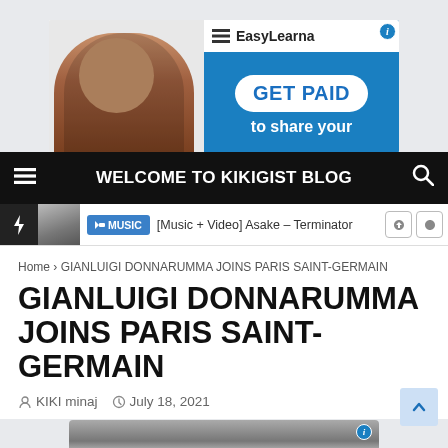[Figure (illustration): EasyLearna advertisement banner showing a woman and 'GET PAID to share your' text on blue background]
WELCOME TO KIKIGIST BLOG
MUSIC  [Music + Video] Asake – Terminator
Home › GIANLUIGI DONNARUMMA JOINS PARIS SAINT-GERMAIN
GIANLUIGI DONNARUMMA JOINS PARIS SAINT-GERMAIN
KIKI minaj   July 18, 2021
[Figure (photo): Partially visible photo at bottom of page]